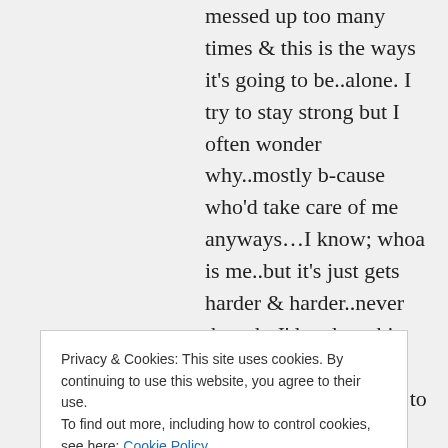messed up too many times & this is the ways it's going to be..alone. I try to stay strong but I often wonder why..mostly b-cause who'd take care of me anyways…I know; whoa is me..but it's just gets harder & harder..never thought I'd end up this way, not in a million years…commiserating to u all..I know exactly how you feel.
★ Like
👍 0 👎 0 ℹ Rate This
Privacy & Cookies: This site uses cookies. By continuing to use this website, you agree to their use.
To find out more, including how to control cookies, see here: Cookie Policy
Close and accept